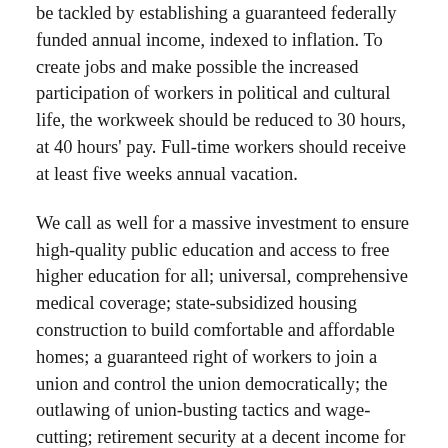be tackled by establishing a guaranteed federally funded annual income, indexed to inflation. To create jobs and make possible the increased participation of workers in political and cultural life, the workweek should be reduced to 30 hours, at 40 hours' pay. Full-time workers should receive at least five weeks annual vacation.
We call as well for a massive investment to ensure high-quality public education and access to free higher education for all; universal, comprehensive medical coverage; state-subsidized housing construction to build comfortable and affordable homes; a guaranteed right of workers to join a union and control the union democratically; the outlawing of union-busting tactics and wage-cutting; retirement security at a decent income for all working people; and government support for small and medium-sized businesses.
The social rights outlined here can be realized only on the